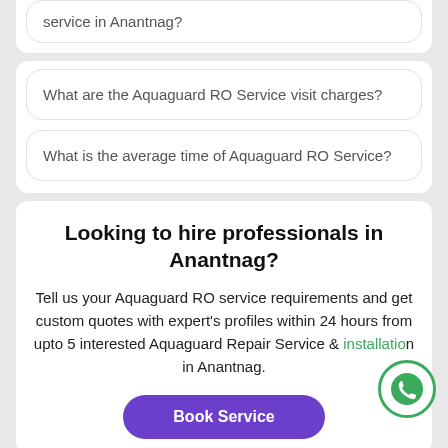service in Anantnag?
What are the Aquaguard RO Service visit charges?
What is the average time of Aquaguard RO Service?
Looking to hire professionals in Anantnag?
Tell us your Aquaguard RO service requirements and get custom quotes with expert's profiles within 24 hours from upto 5 interested Aquaguard Repair Service & installation in Anantnag.